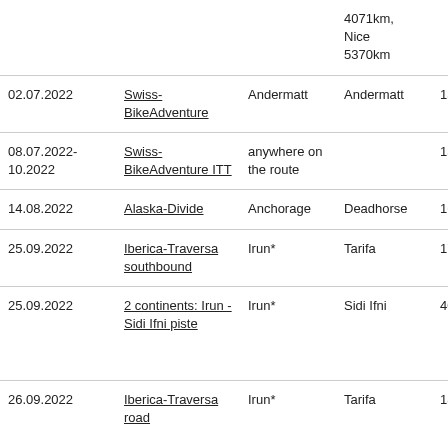| Date | Event | Start | End | Distance | Type |
| --- | --- | --- | --- | --- | --- |
|  |  |  | 4071km, Nice 5370km |  |  |
| 02.07.2022 | Swiss-BikeAdventure | Andermatt | Andermatt | 1300km | road |
| 08.07.2022-10.2022 | Swiss-BikeAdventure ITT | anywhere on the route |  | 1300km | road |
| 14.08.2022 | Alaska-Divide | Anchorage | Deadhorse | 1660km | gravel & road |
| 25.09.2022 | Iberica-Traversa southbound | Irun* | Tarifa | 1720km | gravel & trails |
| 25.09.2022 | 2 continents: Irun - Sidi Ifni piste | Irun* | Sidi Ifni | 4000km | gravel, trails and Moroccon piste |
| 26.09.2022 | Iberica-Traversa road | Irun* | Tarifa | 1800km | road |